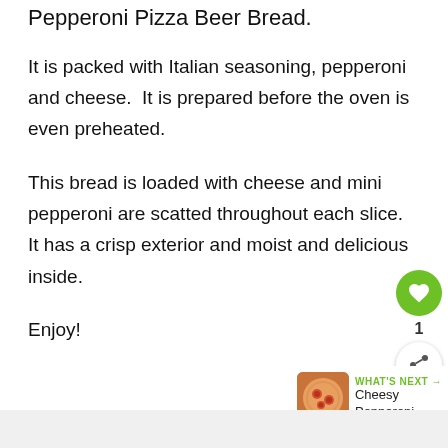Pepperoni Pizza Beer Bread.
It is packed with Italian seasoning, pepperoni and cheese.  It is prepared before the oven is even preheated.
This bread is loaded with cheese and mini pepperoni are scatted throughout each slice.  It has a crisp exterior and moist and delicious inside.
Enjoy!
[Figure (other): What's Next promotional widget with thumbnail image of Cheesy Pepperoni... alongside heart and share floating action buttons]
[Figure (other): Bottom gray bar / footer area]